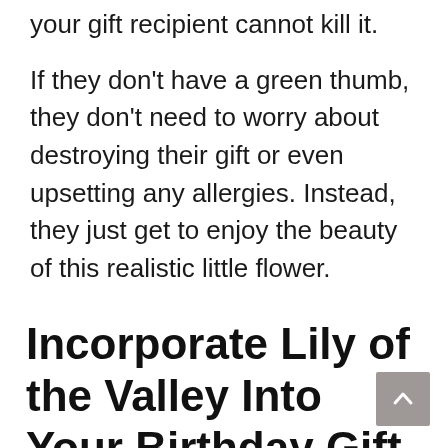your gift recipient cannot kill it.
If they don't have a green thumb, they don't need to worry about destroying their gift or even upsetting any allergies. Instead, they just get to enjoy the beauty of this realistic little flower.
Incorporate Lily of the Valley Into Your Birthday Gift – Without Giving